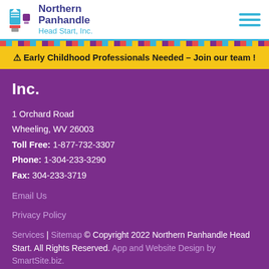Northern Panhandle Head Start, Inc.
⚠ Early Childhood Professionals Needed – Join our team !
Inc.
1 Orchard Road
Wheeling, WV 26003
Toll Free: 1-877-732-3307
Phone: 1-304-233-3290
Fax: 304-233-3719
Email Us
Privacy Policy
Services | Sitemap © Copyright 2022 Northern Panhandle Head Start. All Rights Reserved. App and Website Design by SmartSite.biz.